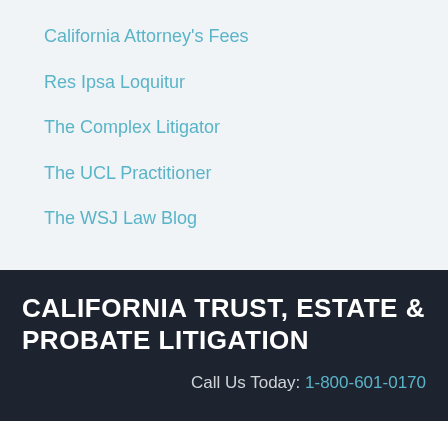California Attorney's Fees
Res Ipsa Loquitur
The Complex Litigator
The UCL Practitioner
The WSJ Law Blog
CALIFORNIA TRUST, ESTATE & PROBATE LITIGATION
Call Us Today: 1-800-601-0170
ALBERTSON